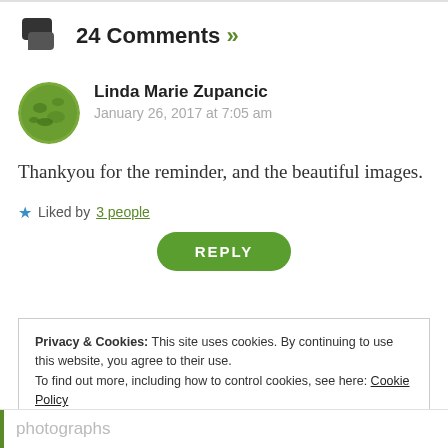24 Comments »
Linda Marie Zupancic
January 26, 2017 at 7:05 am
Thankyou for the reminder, and the beautiful images.
Liked by 3 people
REPLY
Privacy & Cookies: This site uses cookies. By continuing to use this website, you agree to their use.
To find out more, including how to control cookies, see here: Cookie Policy
Close and accept
photographs